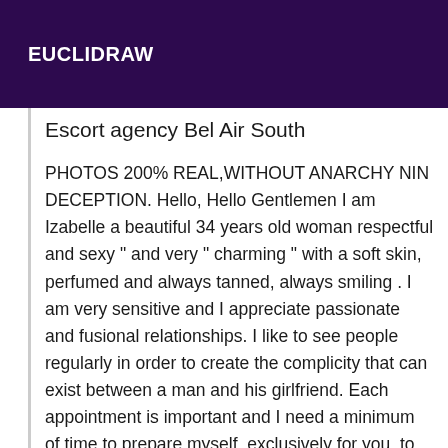EUCLIDRAW
Escort agency Bel Air South
PHOTOS 200% REAL,WITHOUT ANARCHY NIN DECEPTION. Hello, Hello Gentlemen I am Izabelle a beautiful 34 years old woman respectful and sexy " and very " charming " with a soft skin, perfumed and always tanned, always smiling . I am very sensitive and I appreciate passionate and fusional relationships. I like to see people regularly in order to create the complicity that can exist between a man and his girlfriend. Each appointment is important and I need a minimum of time to prepare myself, exclusively for you, to receive you in a perfect way and to meet your expectations. I find myself very friendly, with a strong personality, intelligent, sparkling, playful and very naughty. For the reasons I just mentioned, the feeling with my clients is very important. I am always waiting for you in a very sexy and elegant outfit. It is important to me that you remember